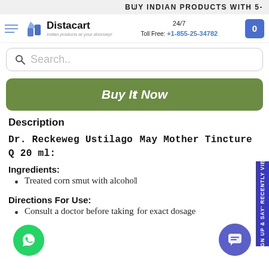BUY INDIAN PRODUCTS WITH 5-
[Figure (logo): Distacart logo with tagline 'Indian products at your doorstep!']
24/7 Toll Free: +1-855-25-34782
Search..
Buy It Now
Description
Dr. Reckeweg  Ustilago May Mother Tincture Q 20 ml:
Ingredients:
Treated corn smut with alcohol
Directions For Use:
Consult a doctor before taking for exact dosage